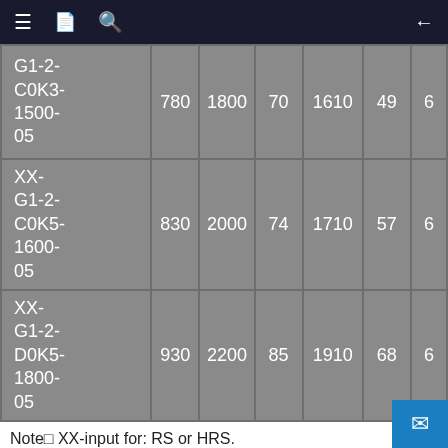Navigation header bar
| Part No. |  |  |  |  |  |  |
| --- | --- | --- | --- | --- | --- | --- |
| G1-2-C0K3-1500-05 | 780 | 1800 | 70 | 1610 | 49 | 6 |
| XX-G1-2-C0K5-1600-05 | 830 | 2000 | 74 | 1710 | 57 | 6 |
| XX-G1-2-D0K5-1800-05 | 930 | 2200 | 85 | 1910 | 68 | 6 |
Note□ XX-input for: RS or HRS.
Base angle size nominated is normal stock standard.
Dimension G will vary with change in base angle s